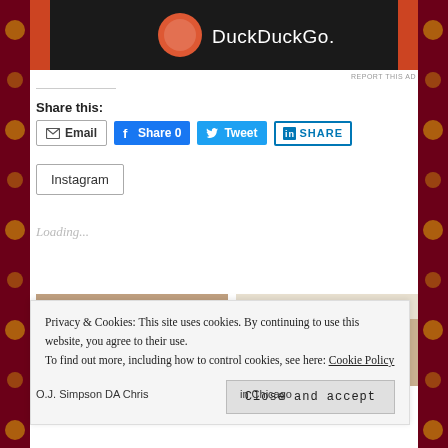[Figure (screenshot): DuckDuckGo advertisement banner with dark background and logo]
REPORT THIS AD
Share this:
Email
Share 0
Tweet
SHARE
Instagram
Loading...
[Figure (photo): Two people visible in left thumbnail image]
[Figure (photo): Person's face close-up in right thumbnail]
Privacy & Cookies: This site uses cookies. By continuing to use this website, you agree to their use.
To find out more, including how to control cookies, see here: Cookie Policy
Close and accept
O.J. Simpson DA Chris
in Chicago